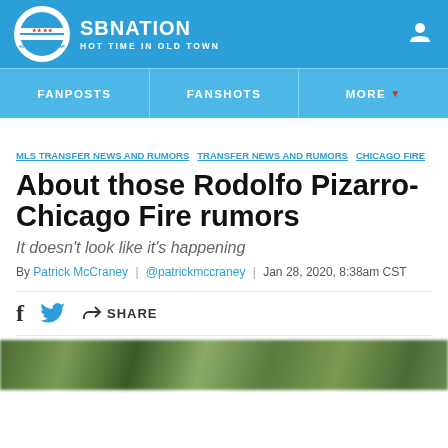SB NATION | HOT TIME IN OLD TOWN
FANPOSTS | FANSHOTS | MORE
MLS TRANSFER NEWS AND RUMORS  TRANSFER NEWS AND RUMORS  CHICAGO FIRE
About those Rodolfo Pizarro-Chicago Fire rumors
It doesn't look like it's happening
By Patrick McCraney | @patrickmccraney | Jan 28, 2020, 8:38am CST
[Figure (photo): Blurred crowd/match photo strip at bottom of page]